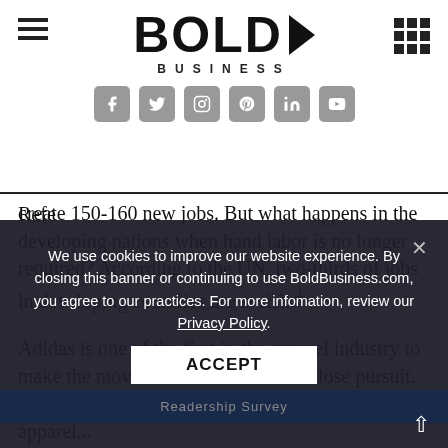BOLD BUSINESS
create 150-160 new jobs.  But what happens in the developing nations when hand labor is no longer required? According to the UN, two-thirds of jobs in developing countries are at risk.⁴
Adidas is one of the first in the apparel industry to make the move to robots; Nike is in close pursuit. As robots take over shoe production, other apparel...
Refe...
We use cookies to improve our website experience. By closing this banner or continuing to use BoldBusiness.com, you agree to our practices. For more infomation, review our Privacy Policy.
ACCEPT
Readership Survey